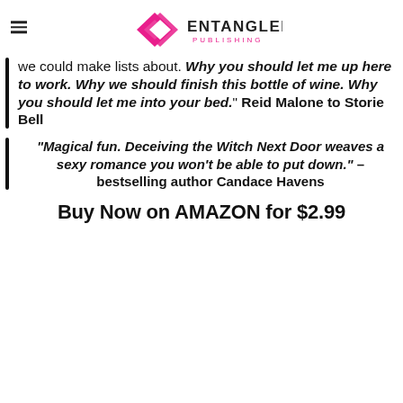ENTANGLED PUBLISHING
we could make lists about. Why you should let me up here to work. Why we should finish this bottle of wine. Why you should let me into your bed." Reid Malone to Storie Bell
“Magical fun. Deceiving the Witch Next Door weaves a sexy romance you won’t be able to put down.” – bestselling author Candace Havens
Buy Now on AMAZON for $2.99